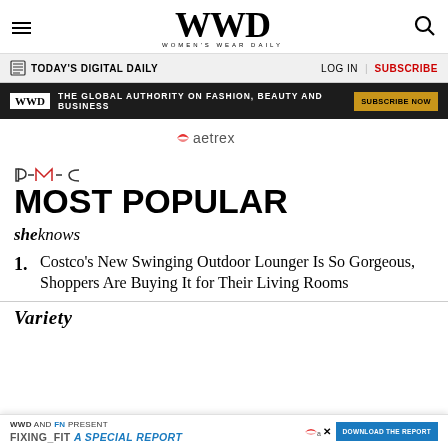WWD — Women's Wear Daily
TODAY'S DIGITAL DAILY | LOG IN | SUBSCRIBE
WWD — THE GLOBAL AUTHORITY ON FASHION, BEAUTY AND BUSINESS — SUBSCRIBE NOW
[Figure (logo): Aetrex logo]
[Figure (logo): PMC logo]
MOST POPULAR
[Figure (logo): SheKnows logo]
Costco's New Swinging Outdoor Lounger Is So Gorgeous, Shoppers Are Buying It for Their Living Rooms
[Figure (logo): Variety logo]
WWD AND FN PRESENT — FIXING_FIT A SPECIAL REPORT — DOWNLOAD THE REPORT